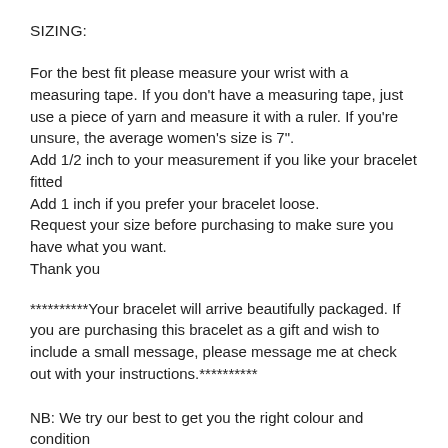SIZING:
For the best fit please measure your wrist with a measuring tape. If you don't have a measuring tape, just use a piece of yarn and measure it with a ruler. If you're unsure, the average women's size is 7".
Add 1/2 inch to your measurement if you like your bracelet fitted
Add 1 inch if you prefer your bracelet loose.
Request your size before purchasing to make sure you have what you want.
Thank you
**********Your bracelet will arrive beautifully packaged. If you are purchasing this bracelet as a gift and wish to include a small message, please message me at check out with your instructions.**********
NB: We try our best to get you the right colour and condition